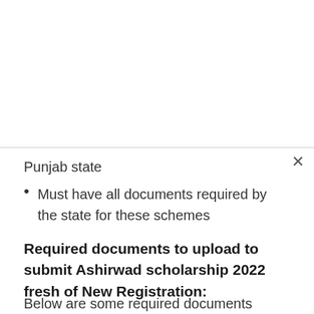Punjab state
Must have all documents required by the state for these schemes
Required documents to upload to submit Ashirwad scholarship 2022 fresh of New Registration:
Below are some required documents prescribed by the Ashirwaad for the students